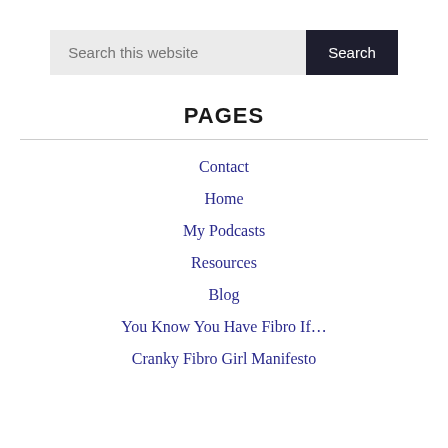[Figure (screenshot): Search bar with text input 'Search this website' and a dark 'Search' button]
PAGES
Contact
Home
My Podcasts
Resources
Blog
You Know You Have Fibro If…
Cranky Fibro Girl Manifesto